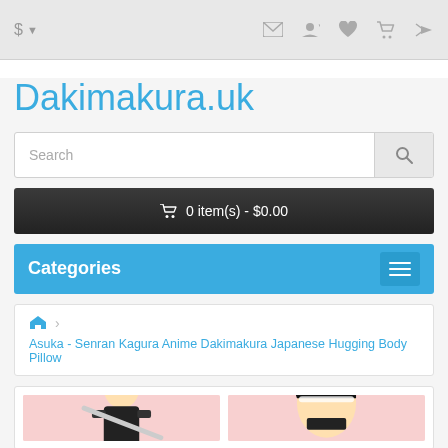$ ▼  [mail] [user] [heart] [cart] [share]
Dakimakura.uk
Search
🛒 0 item(s) - $0.00
Categories
🏠 > Asuka - Senran Kagura Anime Dakimakura Japanese Hugging Body Pillow
[Figure (illustration): Two anime character illustrations side by side with pink background, showing Asuka from Senran Kagura]